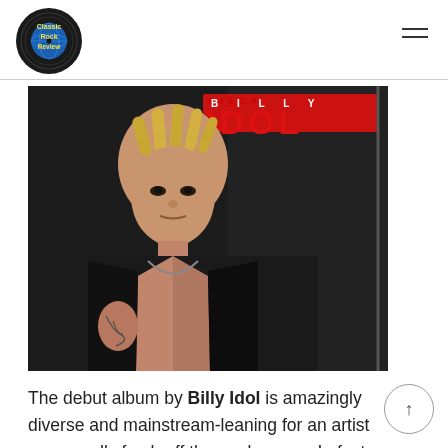Classic Rock Review
[Figure (photo): Album cover of Billy Idol's debut self-titled album showing Billy Idol in a black leather vest with tattoos and blonde hair against a dark background with 'BILLY IDOL' text in red.]
The debut album by Billy Idol is amazingly diverse and mainstream-leaning for an artist supposedly fresh off the punk scene. In fact, Idol today admits that his late seventies outfit, Generation X differed widely from the rest on the punk scene.